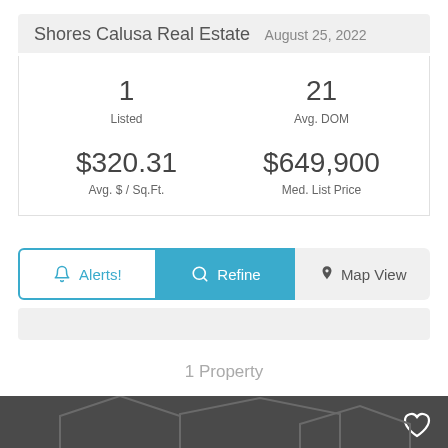Shores Calusa Real Estate  August 25, 2022
| Listed | Avg. DOM | Avg. $ / Sq.Ft. | Med. List Price |
| --- | --- | --- | --- |
| 1 | 21 | $320.31 | $649,900 |
Alerts!  Refine  Map View
1 Property
[Figure (photo): Dark gray placeholder image with a faint house roofline silhouette and a heart (favorite) icon in the upper right]